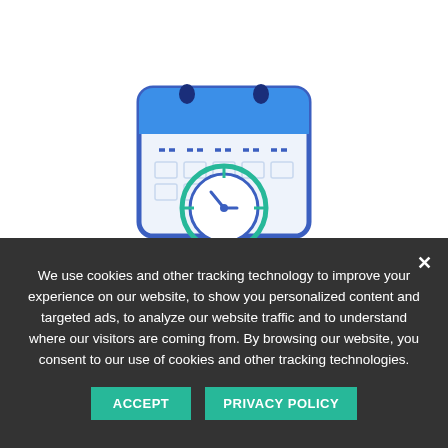[Figure (illustration): A calendar icon with a blue header bar and two dark blue pin/ring fasteners at the top. The calendar body is white/light with a dashed line row at the top and a grid of cells below. In the center of the calendar is a teal/green clock icon with crosshair/target marks around it and clock hands pointing to approximately 10:10.]
We use cookies and other tracking technology to improve your experience on our website, to show you personalized content and targeted ads, to analyze our website traffic and to understand where our visitors are coming from. By browsing our website, you consent to our use of cookies and other tracking technologies.